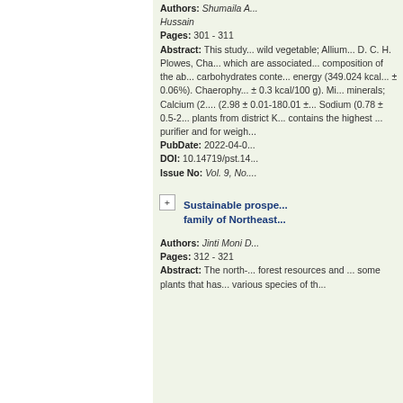Authors: Shumaila A... Hussain
Pages: 301 - 311
Abstract: This study... wild vegetable; Allium... D. C. H. Plowes, Cha... which are associated... composition of the ab... carbohydrates conte... energy (349.024 kcal... ± 0.06%). Chaerophy... ± 0.3 kcal/100 g). Mi... minerals; Calcium (2.... (2.98 ± 0.01-180.01 ±... Sodium (0.78 ± 0.5-2... plants from district K... contains the highest ... purifier and for weigh...
PubDate: 2022-04-0...
DOI: 10.14719/pst.14...
Issue No: Vol. 9, No....
Sustainable prospe... family of Northeast...
Authors: Jinti Moni D...
Pages: 312 - 321
Abstract: The north-... forest resources and ... some plants that has... various species of th...